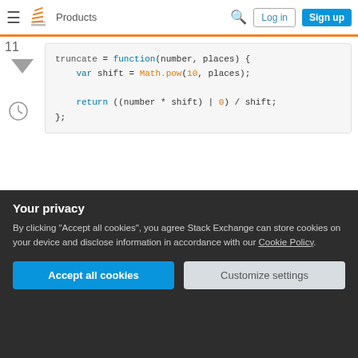≡  [Stack logo]  Products  🔍  Log in  Sign up
11
[Figure (illustration): Downvote arrow (triangle pointing down) and history clock icon]
truncate = function(number, places) {
    var shift = Math.pow(10, places);

    return ((number * shift) | 0) / shift;
};
Share  Follow
answered Mar 18, 2014 at 0:15
Daniel X Moore
14.2k ● 17 ● 78 ● 90
1.  Good call. Using a bitwise operator coerces the value
Your privacy
By clicking "Accept all cookies", you agree Stack Exchange can store cookies on your device and disclose information in accordance with our Cookie Policy.
Accept all cookies
Customize settings
100);  this code return 0.28 instead of 0.29